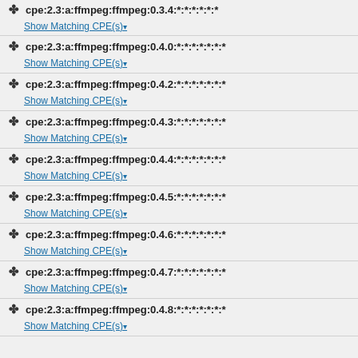cpe:2.3:a:ffmpeg:ffmpeg:0.3.4:*:*:*:*:*:*:*
Show Matching CPE(s)
cpe:2.3:a:ffmpeg:ffmpeg:0.4.0:*:*:*:*:*:*:*
Show Matching CPE(s)
cpe:2.3:a:ffmpeg:ffmpeg:0.4.2:*:*:*:*:*:*:*
Show Matching CPE(s)
cpe:2.3:a:ffmpeg:ffmpeg:0.4.3:*:*:*:*:*:*:*
Show Matching CPE(s)
cpe:2.3:a:ffmpeg:ffmpeg:0.4.4:*:*:*:*:*:*:*
Show Matching CPE(s)
cpe:2.3:a:ffmpeg:ffmpeg:0.4.5:*:*:*:*:*:*:*
Show Matching CPE(s)
cpe:2.3:a:ffmpeg:ffmpeg:0.4.6:*:*:*:*:*:*:*
Show Matching CPE(s)
cpe:2.3:a:ffmpeg:ffmpeg:0.4.7:*:*:*:*:*:*:*
Show Matching CPE(s)
cpe:2.3:a:ffmpeg:ffmpeg:0.4.8:*:*:*:*:*:*:*
Show Matching CPE(s)